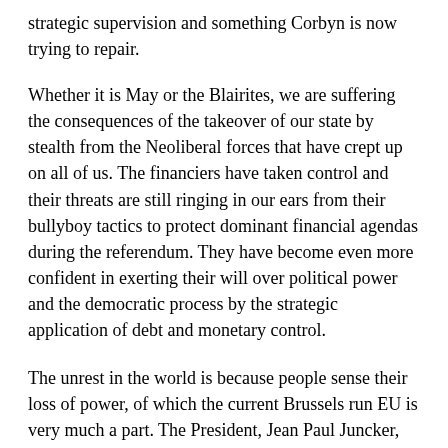strategic supervision and something Corbyn is now trying to repair.
Whether it is May or the Blairites, we are suffering the consequences of the takeover of our state by stealth from the Neoliberal forces that have crept up on all of us. The financiers have taken control and their threats are still ringing in our ears from their bullyboy tactics to protect dominant financial agendas during the referendum. They have become even more confident in exerting their will over political power and the democratic process by the strategic application of debt and monetary control.
The unrest in the world is because people sense their loss of power, of which the current Brussels run EU is very much a part. The President, Jean Paul Juncker, has said quite emphatically that "There can be no democratic choice against European Treaties"